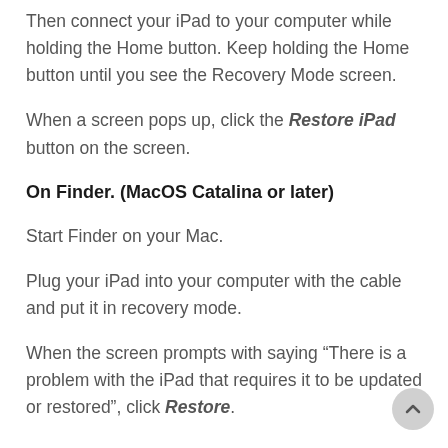Then connect your iPad to your computer while holding the Home button. Keep holding the Home button until you see the Recovery Mode screen.
When a screen pops up, click the Restore iPad button on the screen.
On Finder. (MacOS Catalina or later)
Start Finder on your Mac.
Plug your iPad into your computer with the cable and put it in recovery mode.
When the screen prompts with saying “There is a problem with the iPad that requires it to be updated or restored”, click Restore.